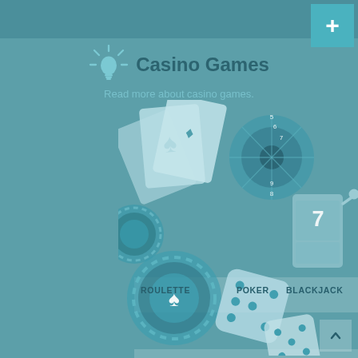Casino Games
Read more about casino games.
[Figure (illustration): Casino gaming illustration with playing cards, poker chips, dice, roulette wheel, and slot machine in teal color scheme]
ROULETTE
POKER
BLACKJACK
SLOTS
CARIBBEAN STUD
STARBURST
BETTING
BINGO
LOTTERY AND LOTTO GAMES
SIC BO
TEXAS HOLD'EM
RUMMY
GIN RUMMY
PROGRESSIVE JACKPOTS